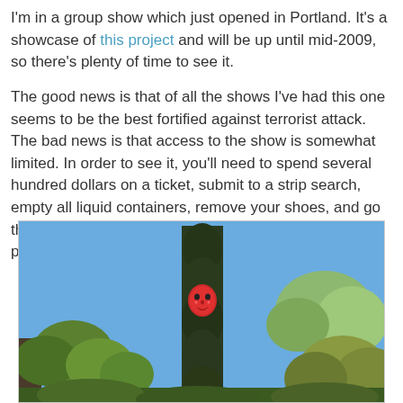I'm in a group show which just opened in Portland. It's a showcase of this project and will be up until mid-2009, so there's plenty of time to see it.

The good news is that of all the shows I've had this one seems to be the best fortified against terrorist attack. The bad news is that access to the show is somewhat limited. In order to see it, you'll need to spend several hundred dollars on a ticket, submit to a strip search, empty all liquid containers, remove your shoes, and go through a metal detector. Hopefully you were already planning to do all of that anyway.
[Figure (photo): Outdoor garden scene with a tall dark columnar tree (cypress or similar) in the center, a red object embedded or hanging in it, surrounded by lighter green shrubs and trees against a blue sky.]